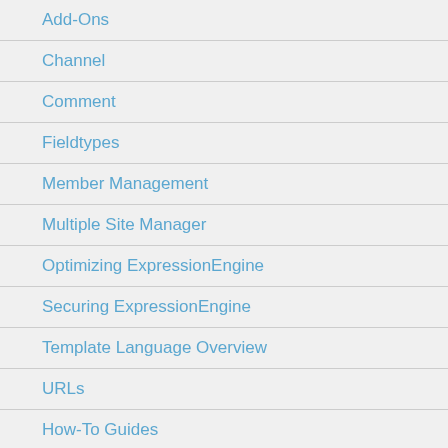Add-Ons
Channel
Comment
Fieldtypes
Member Management
Multiple Site Manager
Optimizing ExpressionEngine
Securing ExpressionEngine
Template Language Overview
URLs
How-To Guides
Building a Simple News Site from Start to Finish
Hello, World!
Syntax Highlighting